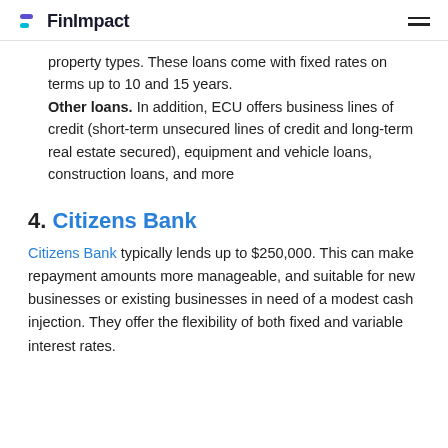FinImpact
property types. These loans come with fixed rates on terms up to 10 and 15 years. Other loans. In addition, ECU offers business lines of credit (short-term unsecured lines of credit and long-term real estate secured), equipment and vehicle loans, construction loans, and more
4. Citizens Bank
Citizens Bank typically lends up to $250,000. This can make repayment amounts more manageable, and suitable for new businesses or existing businesses in need of a modest cash injection. They offer the flexibility of both fixed and variable interest rates.